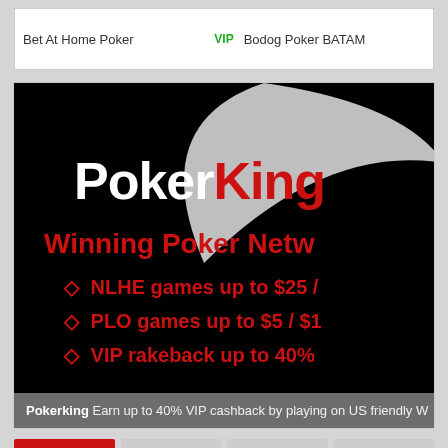Bet At Home Poker    VIP    Bodog Poker BATAM
[Figure (screenshot): PokerKing banner advertisement on black background with white swoosh arc. Shows 'PokerKing' logo in white and red, 'Winning Poker Netw[ork]' in red, and bullet points: NLHE games up to $25/[...], PLO games up to $5/$1[...], VIP rakeback up to 40%]
Pokerking Earn up to 40% VIP cashback by playing on US friendly W[inning Poker Network]